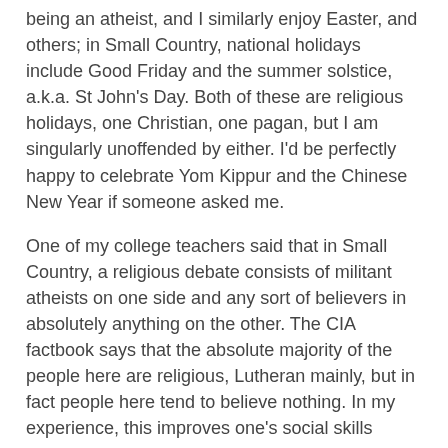being an atheist, and I similarly enjoy Easter, and others; in Small Country, national holidays include Good Friday and the summer solstice, a.k.a. St John's Day. Both of these are religious holidays, one Christian, one pagan, but I am singularly unoffended by either. I'd be perfectly happy to celebrate Yom Kippur and the Chinese New Year if someone asked me.
One of my college teachers said that in Small Country, a religious debate consists of militant atheists on one side and any sort of believers in absolutely anything on the other. The CIA factbook says that the absolute majority of the people here are religious, Lutheran mainly, but in fact people here tend to believe nothing. In my experience, this improves one's social skills significantly. I certainly do think organized religion is a bad thing and has caused this world a lot of grief, but I am not offended by any religious symbols. I'm not even offended by Mormons. I'm not even offended by Jehovah's Witnesses. Any aspect of a religion, if implemented reasonably, is fine by me.
Merry Christmas.